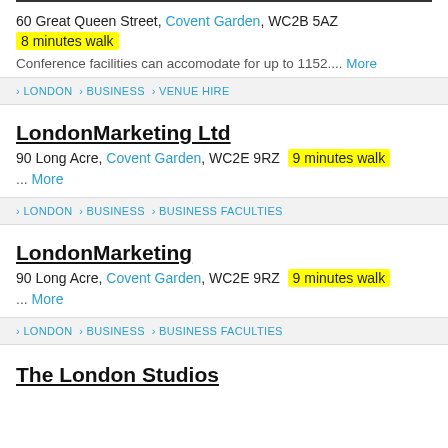60 Great Queen Street, Covent Garden, WC2B 5AZ
8 minutes walk
Conference facilities can accomodate for up to 1152.... More
LONDON › BUSINESS › VENUE HIRE
LondonMarketing Ltd
90 Long Acre, Covent Garden, WC2E 9RZ  9 minutes walk
... More
LONDON › BUSINESS › BUSINESS FACULTIES
LondonMarketing
90 Long Acre, Covent Garden, WC2E 9RZ  9 minutes walk
... More
LONDON › BUSINESS › BUSINESS FACULTIES
The London Studios